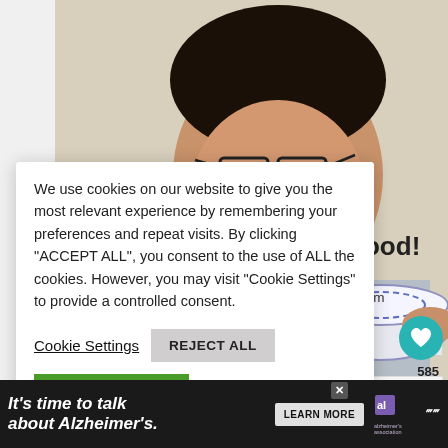[Figure (photo): Asian man smiling and eating from a bowl with chopsticks, wearing glasses and a grey t-shirt with red collar, against a light beige background]
n Food!
more from ur inbox.
We use cookies on our website to give you the most relevant experience by remembering your preferences and repeat visits. By clicking "ACCEPT ALL", you consent to the use of ALL the cookies. However, you may visit "Cookie Settings" to provide a controlled consent.
Cookie Settings
REJECT ALL
ACCEPT ALL
585
[Figure (infographic): Advertisement banner: dark background with italic white text 'It's time to talk about Alzheimer's.' with a 'LEARN MORE' button and the Alzheimer's Association logo]